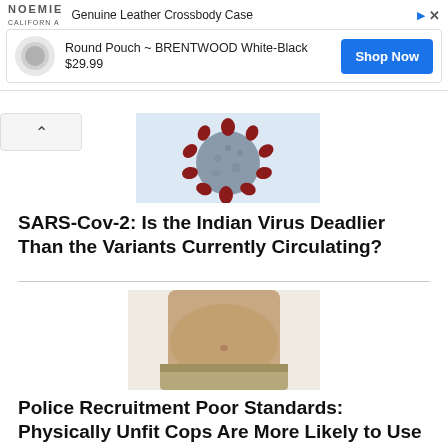[Figure (screenshot): Advertisement banner: NOEMIE Genuine Leather Crossbody Case. Product: Round Pouch ~ BRENTWOOD White-Black, $29.99, Shop Now button.]
[Figure (photo): Close-up of a coronavirus (SARS-CoV-2) particle — grey sphere with red spike proteins, on a pale blue background.]
SARS-Cov-2: Is the Indian Virus Deadlier Than the Variants Currently Circulating?
[Figure (photo): Photo of a shirtless overweight man from chest to thighs, wearing khaki pants, showing a large belly.]
Police Recruitment Poor Standards: Physically Unfit Cops Are More Likely to Use Lethal Force